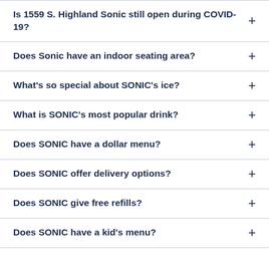Is 1559 S. Highland Sonic still open during COVID-19?
Does Sonic have an indoor seating area?
What's so special about SONIC's ice?
What is SONIC's most popular drink?
Does SONIC have a dollar menu?
Does SONIC offer delivery options?
Does SONIC give free refills?
Does SONIC have a kid's menu?